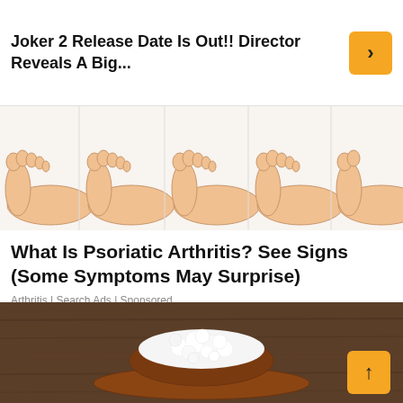Joker 2 Release Date Is Out!! Director Reveals A Big...
[Figure (illustration): Row of illustrated human feet from above, showing toes, on a white background]
What Is Psoriatic Arthritis? See Signs (Some Symptoms May Surprise)
Arthritis | Search Ads | Sponsored
[Figure (photo): Close-up photo of white cottage cheese or kefir grains on a wooden spoon, placed on a rustic wooden surface]